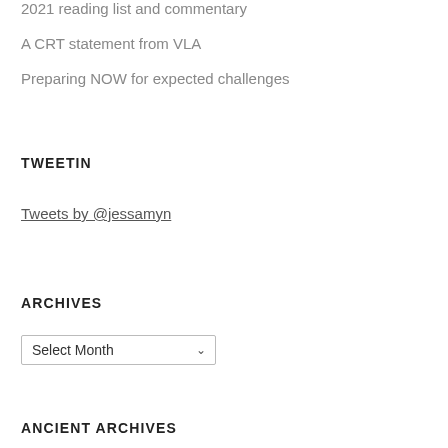2021 reading list and commentary
A CRT statement from VLA
Preparing NOW for expected challenges
TWEETIN
Tweets by @jessamyn
ARCHIVES
Select Month
ANCIENT ARCHIVES